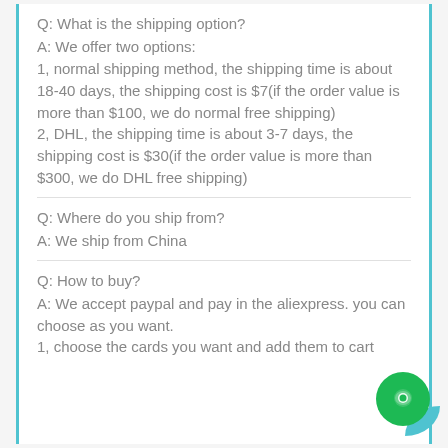Q: What is the shipping option?
A: We offer two options:
1, normal shipping method, the shipping time is about 18-40 days, the shipping cost is $7(if the order value is more than $100, we do normal free shipping)
2, DHL, the shipping time is about 3-7 days, the shipping cost is $30(if the order value is more than $300, we do DHL free shipping)
Q: Where do you ship from?
A: We ship from China
Q: How to buy?
A: We accept paypal and pay in the aliexpress. you can choose as you want.
1, choose the cards you want and add them to cart